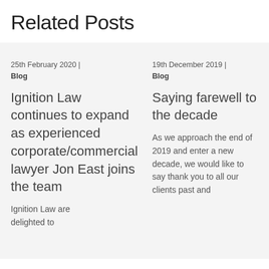Related Posts
25th February 2020  |  Blog
Ignition Law continues to expand as experienced corporate/commercial lawyer Jon East joins the team
Ignition Law are delighted to
19th December 2019  |  Blog
Saying farewell to the decade
As we approach the end of 2019 and enter a new decade, we would like to say thank you to all our clients past and